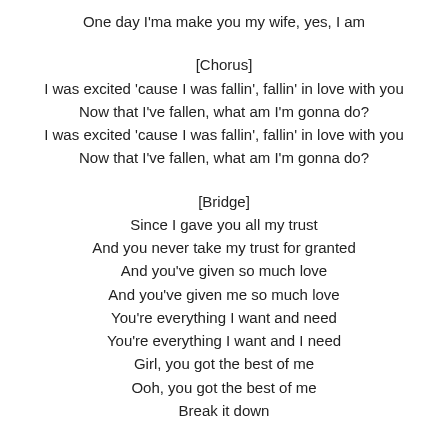One day I'ma make you my wife, yes, I am
[Chorus]
I was excited 'cause I was fallin', fallin' in love with you
Now that I've fallen, what am I'm gonna do?
I was excited 'cause I was fallin', fallin' in love with you
Now that I've fallen, what am I'm gonna do?
[Bridge]
Since I gave you all my trust
And you never take my trust for granted
And you've given so much love
And you've given me so much love
You're everything I want and need
You're everything I want and I need
Girl, you got the best of me
Ooh, you got the best of me
Break it down